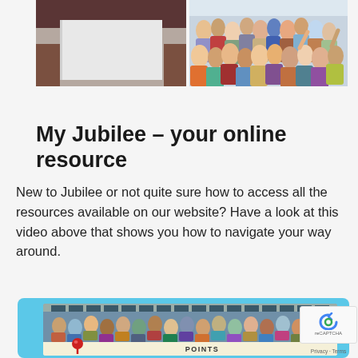[Figure (photo): Two photos side by side at top: left shows a person holding up a white board/sign (cropped, dark clothing), right shows a crowd of people at what appears to be a community event or gathering.]
My Jubilee – your online resource
New to Jubilee or not quite sure how to access all the resources available on our website? Have a look at this video above that shows you how to navigate your way around.
[Figure (photo): A card with a light blue border containing a photo of a crowd of people outside a building. Below the photo is a cream/yellow banner partially showing the word POINTS and a red pin graphic.]